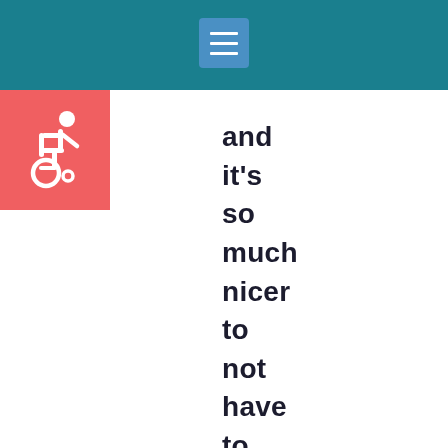[Figure (illustration): Wheelchair accessibility icon (white on coral/red-pink background)]
and it's so much nicer to not have to worry about your teeth."